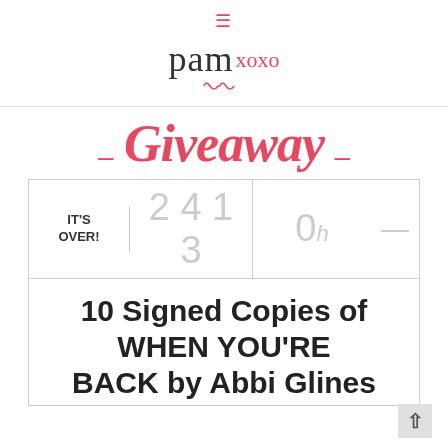≡ Pam xoxo
— Giveaway —
IT'S OVER! | 2413 | 0h
10 Signed Copies of WHEN YOU'RE BACK by Abbi Glines